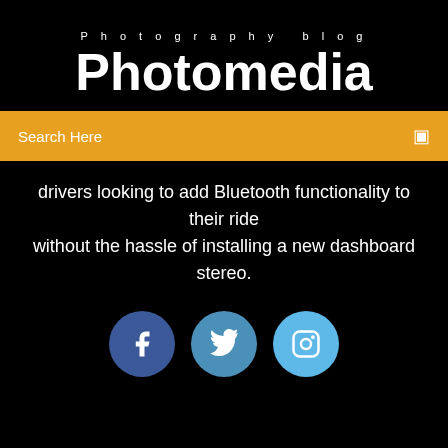Photography blog
Photomedia
Search Here
drivers looking to add Bluetooth functionality to their ride without the hassle of installing a new dashboard stereo.
[Figure (illustration): Three social media icons: Facebook (dark blue circle), Twitter (medium blue circle), Instagram (light blue circle)]
How To Download Windows 10 On Pc
Hp All In One Printer Fax App Download
The Fever Code The Fever Code Pdf Download